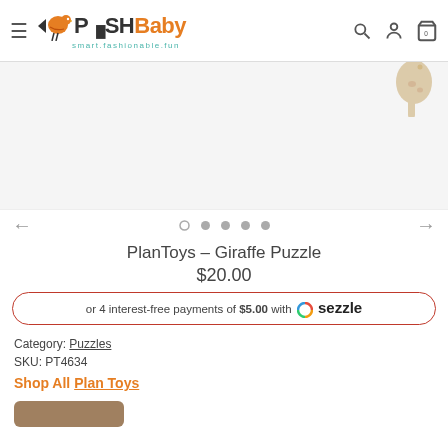PoshBaby - smart.fashionable.fun
[Figure (screenshot): Product image area for PlanToys Giraffe Puzzle with partial giraffe image visible at top right]
[Figure (other): Carousel navigation with left arrow, 5 dots (first is outline/active, rest filled), and right arrow]
PlanToys – Giraffe Puzzle
$20.00
or 4 interest-free payments of $5.00 with Sezzle
Category: Puzzles
SKU: PT4634
Shop All Plan Toys